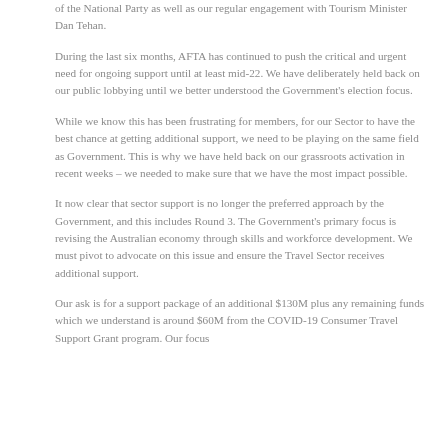of the National Party as well as our regular engagement with Tourism Minister Dan Tehan.
During the last six months, AFTA has continued to push the critical and urgent need for ongoing support until at least mid-22. We have deliberately held back on our public lobbying until we better understood the Government's election focus.
While we know this has been frustrating for members, for our Sector to have the best chance at getting additional support, we need to be playing on the same field as Government. This is why we have held back on our grassroots activation in recent weeks – we needed to make sure that we have the most impact possible.
It now clear that sector support is no longer the preferred approach by the Government, and this includes Round 3. The Government's primary focus is revising the Australian economy through skills and workforce development. We must pivot to advocate on this issue and ensure the Travel Sector receives additional support.
Our ask is for a support package of an additional $130M plus any remaining funds which we understand is around $60M from the COVID-19 Consumer Travel Support Grant program. Our focus